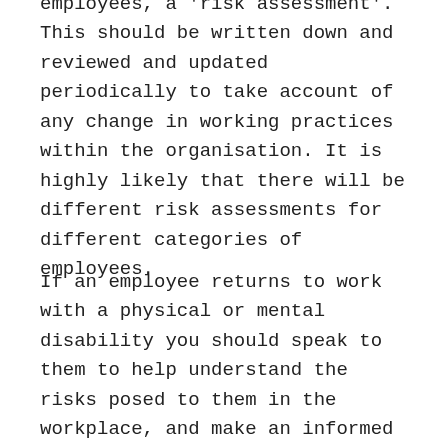employees, a 'risk assessment'. This should be written down and reviewed and updated periodically to take account of any change in working practices within the organisation. It is highly likely that there will be different risk assessments for different categories of employees.
If an employee returns to work with a physical or mental disability you should speak to them to help understand the risks posed to them in the workplace, and make an informed decision whether to carry out a